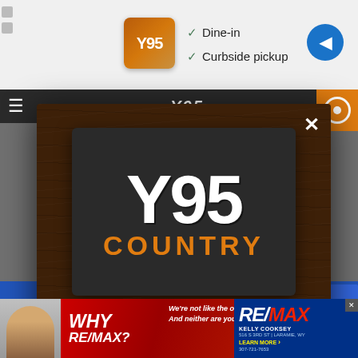[Figure (screenshot): Top bar showing restaurant listing with icon, Dine-in and Curbside pickup checkmarks, and navigation arrow]
[Figure (screenshot): Website background showing Y95 Country radio station website with navigation bar]
[Figure (screenshot): Modal popup overlay on Y95 Country website showing Y95 COUNTRY logo on dark wood background with sign-up text: 'Sign up to have news and information about your community delivered to your email.']
[Figure (screenshot): RE/MAX advertisement banner at bottom: 'WHY RE/MAX? We're not like the others. And neither are you. KELLY COOKSEY 516 S 3RD ST | LARAMIE, WY LEARN MORE 307-721-7653']